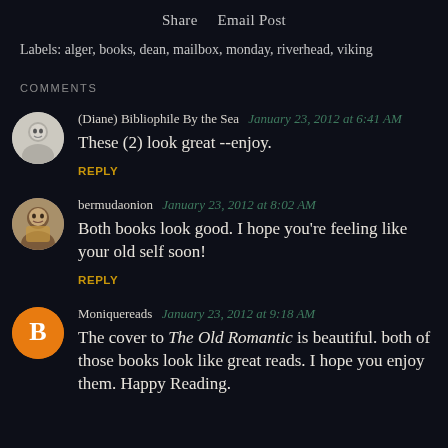Share   Email Post
Labels: alger, books, dean, mailbox, monday, riverhead, viking
COMMENTS
(Diane) Bibliophile By the Sea  January 23, 2012 at 6:41 AM
These (2) look great --enjoy.
REPLY
bermudaonion  January 23, 2012 at 8:02 AM
Both books look good. I hope you're feeling like your old self soon!
REPLY
Moniquereads  January 23, 2012 at 9:18 AM
The cover to The Old Romantic is beautiful. both of those books look like great reads. I hope you enjoy them. Happy Reading.